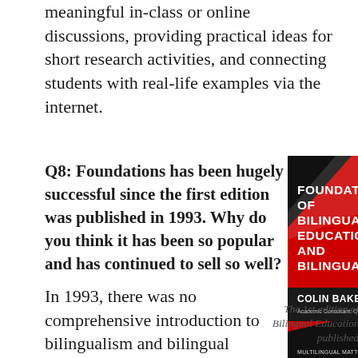meaningful in-class or online discussions, providing practical ideas for short research activities, and connecting students with real-life examples via the internet.
Q8: Foundations has been hugely successful since the first edition was published in 1993. Why do you think it has been so popular and has continued to sell so well?
[Figure (photo): Book cover of Foundations of Bilingual Education and Bilingualism by Colin Baker, Academic Consultant: Ofelia Garcia. Red and black cover design with diagonal stripe.]
The 1st edition of Foundations of Bilingual Education and Bilingualism, published in 1993
In 1993, there was no comprehensive introduction to bilingualism and bilingual education. Mike Grover, the founding